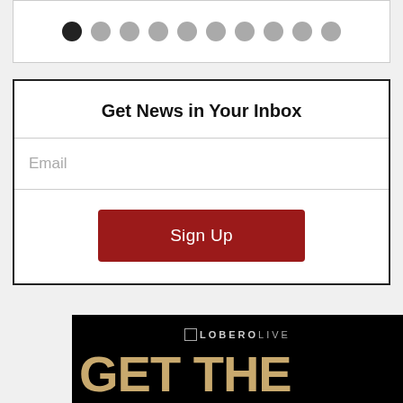[Figure (screenshot): Pagination dots: one filled black circle followed by nine grey circles indicating a slideshow or carousel navigation.]
Get News in Your Inbox
Email
Sign Up
[Figure (infographic): Lobero Live advertisement for 'Get the Led Out - A Celebration of The Mighty Zep', event on Sept 30. Black background with gold stylized title text, teal SEPT 30 text, and the Santa Barbara Independent badge logo in bottom right.]